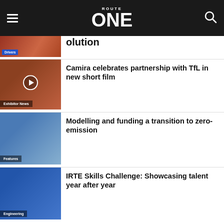ROUTE ONE
Drivers — [partial article cut off]
Camira celebrates partnership with TfL in new short film
Exhibitor News
Modelling and funding a transition to zero-emission
Features
IRTE Skills Challenge: Showcasing talent year after year
Engineering
Taking control of the future of vehicle testing
Features